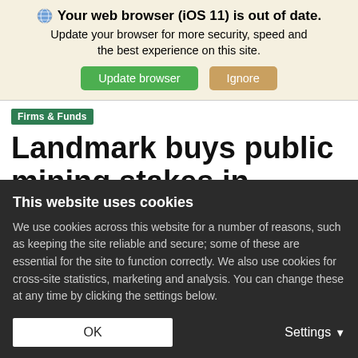[Figure (screenshot): Browser update notification banner with globe icon, text 'Your web browser (iOS 11) is out of date. Update your browser for more security, speed and the best experience on this site.' with green 'Update browser' button and tan 'Ignore' button.]
Firms & Funds
Landmark buys public mining stakes in unique
This website uses cookies
We use cookies across this website for a number of reasons, such as keeping the site reliable and secure; some of these are essential for the site to function correctly. We also use cookies for cross-site statistics, marketing and analysis. You can change these at any time by clicking the settings below.
OK
Settings